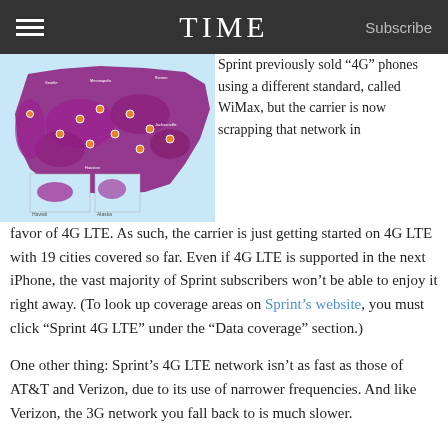TIME   Subscribe
[Figure (map): Map of the United States showing Sprint 4G LTE coverage in purple/magenta, with limited coverage visible across many cities. Orange dots mark specific LTE coverage cities. Inset maps show Hawaii and Alaska.]
Sprint previously sold “4G” phones using a different standard, called WiMax, but the carrier is now scrapping that network in favor of 4G LTE. As such, the carrier is just getting started on 4G LTE with 19 cities covered so far. Even if 4G LTE is supported in the next iPhone, the vast majority of Sprint subscribers won’t be able to enjoy it right away. (To look up coverage areas on Sprint’s website, you must click “Sprint 4G LTE” under the “Data coverage” section.)
One other thing: Sprint’s 4G LTE network isn’t as fast as those of AT&T and Verizon, due to its use of narrower frequencies. And like Verizon, the 3G network you fall back to is much slower.